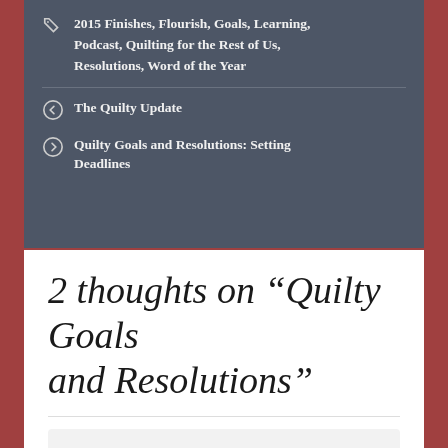2015 Finishes, Flourish, Goals, Learning, Podcast, Quilting for the Rest of Us, Resolutions, Word of the Year
The Quilty Update
Quilty Goals and Resolutions: Setting Deadlines
2 thoughts on “Quilty Goals and Resolutions”
Pingback: Quilty Goals and Resolutions: Setting Deadlines – Home Sweet Dreaming